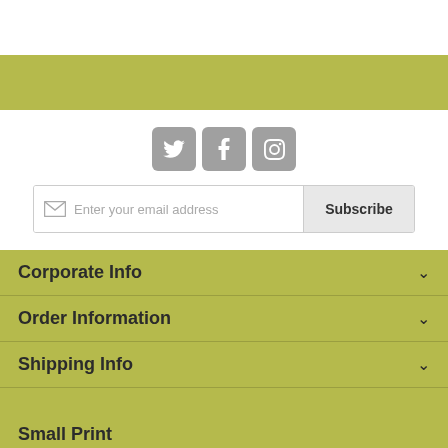[Figure (infographic): Olive/yellow-green horizontal bar at top]
[Figure (infographic): Three social media icon buttons (Twitter, Facebook, Instagram) in gray rounded squares]
[Figure (infographic): Email subscription bar with envelope icon, placeholder text 'Enter your email address' and 'Subscribe' button]
Corporate Info
Order Information
Shipping Info
Small Print